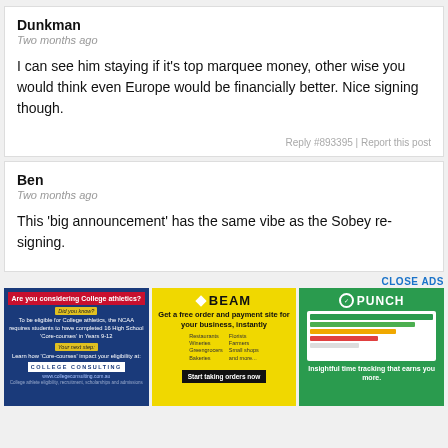Dunkman
Two months ago
I can see him staying if it's top marquee money, other wise you would think even Europe would be financially better. Nice signing though.
Reply #893395 | Report this post
Ben
Two months ago
This 'big announcement' has the same vibe as the Sobey re-signing.
CLOSE ADS
[Figure (other): College Consulting ad - blue/red banner asking if you're considering college athletics]
[Figure (other): BEAM yellow ad - get a free order and payment site for your business instantly]
[Figure (other): PUNCH green ad - insightful time tracking that earns you more]